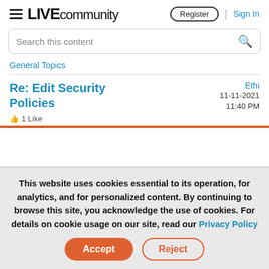LIVE community | Register | Sign In
Search this content
General Topics
Re: Edit Security Policies
Ethi  11-11-2021  11:40 PM  1 Like
This website uses cookies essential to its operation, for analytics, and for personalized content. By continuing to browse this site, you acknowledge the use of cookies. For details on cookie usage on our site, read our Privacy Policy
Accept  Reject